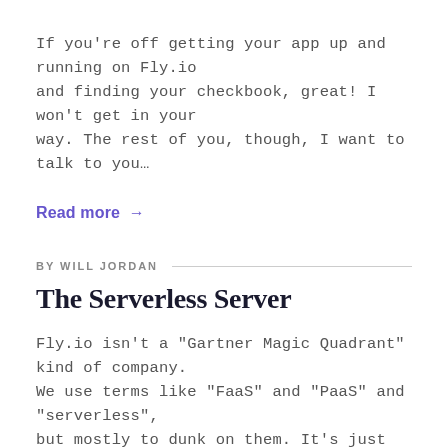If you're off getting your app up and running on Fly.io and finding your checkbook, great! I won't get in your way. The rest of you, though, I want to talk to you…
Read more →
BY WILL JORDAN
The Serverless Server
Fly.io isn't a "Gartner Magic Quadrant" kind of company. We use terms like "FaaS" and "PaaS" and "serverless", but mostly to dunk on them. It's just not how we thin…
Read more →